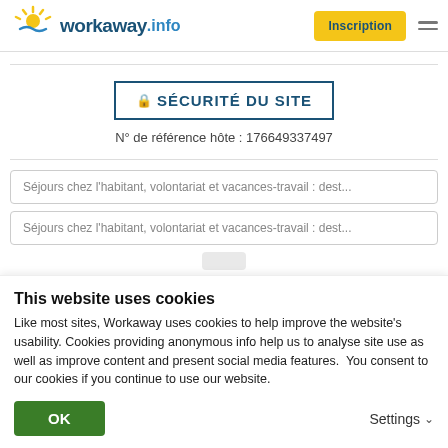[Figure (logo): Workaway.info logo with sun icon in yellow/blue on top left]
Inscription
🔒 SÉCURITÉ DU SITE
N° de référence hôte : 176649337497
Séjours chez l'habitant, volontariat et vacances-travail : dest...
Séjours chez l'habitant, volontariat et vacances-travail : dest...
This website uses cookies
Like most sites, Workaway uses cookies to help improve the website's usability. Cookies providing anonymous info help us to analyse site use as well as improve content and present social media features.  You consent to our cookies if you continue to use our website.
OK
Settings